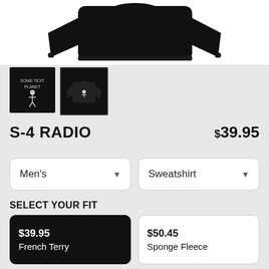[Figure (photo): Black crewneck sweatshirt product photo on white background, showing upper portion of garment]
[Figure (photo): Two product thumbnail images: left is a dark graphic tee design, right (selected/bordered) is a black sweatshirt front view with small white graphic]
S-4 RADIO
$39.95
Men's (dropdown)
Sweatshirt (dropdown)
SELECT YOUR FIT
$39.95
French Terry
$50.45
Sponge Fleece